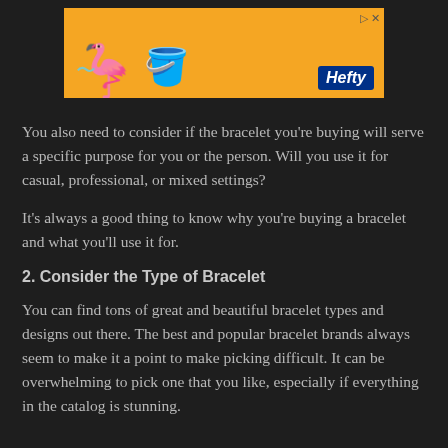[Figure (other): Hefty brand advertisement banner with orange background, flamingo mascot, and Hefty logo]
You also need to consider if the bracelet you're buying will serve a specific purpose for you or the person. Will you use it for casual, professional, or mixed settings?
It's always a good thing to know why you're buying a bracelet and what you'll use it for.
2. Consider the Type of Bracelet
You can find tons of great and beautiful bracelet types and designs out there. The best and popular bracelet brands always seem to make it a point to make picking difficult. It can be overwhelming to pick one that you like, especially if everything in the catalog is stunning.